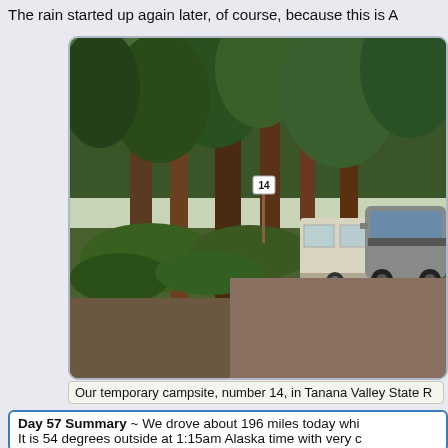The rain started up again later, of course, because this is A
[Figure (photo): A forested campsite showing tall pine/spruce trees, green undergrowth, a dirt path, and a white camper trailer with a gray SUV parked at campsite number 14 in Tanana Valley State Forest.]
Our temporary campsite, number 14, in Tanana Valley State R
Day 57 Summary ~ We drove about 196 miles today whi... It is 54 degrees outside at 1:15am Alaska time with very c